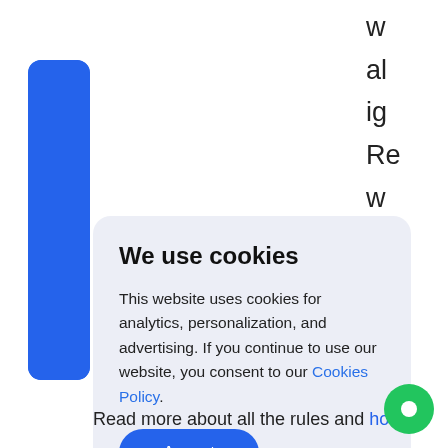w
al
ig
Re
w
pa
4%
an
tu
We use cookies
This website uses cookies for analytics, personalization, and advertising. If you continue to use our website, you consent to our Cookies Policy.
Accept
Read more about all the rules and how to